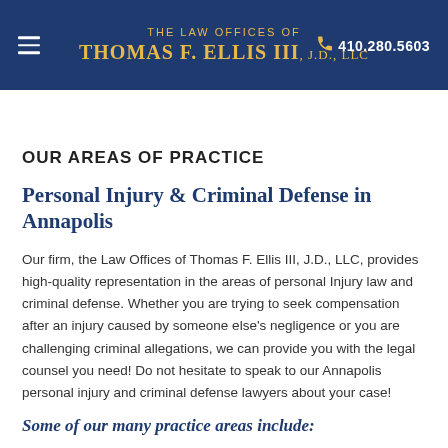THE LAW OFFICES OF THOMAS F. ELLIS III, J.D., LLC | 410.280.5603
OUR AREAS OF PRACTICE
Personal Injury & Criminal Defense in Annapolis
Our firm, the Law Offices of Thomas F. Ellis III, J.D., LLC, provides high-quality representation in the areas of personal Injury law and criminal defense. Whether you are trying to seek compensation after an injury caused by someone else's negligence or you are challenging criminal allegations, we can provide you with the legal counsel you need! Do not hesitate to speak to our Annapolis personal injury and criminal defense lawyers about your case!
Some of our many practice areas include: